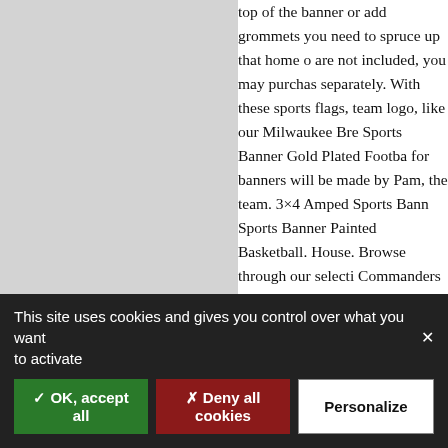[Figure (other): Grey panel / placeholder area on the left side of the page]
top of the banner or add grommets you need to spruce up that home o are not included, you may purchas separately. With these sports flags, team logo, like our Milwaukee Bre Sports Banner Gold Plated Footba for banners will be made by Pam, the team. 3×4 Amped Sports Bann Sports Banner Painted Basketball. House. Browse through our selecti Commanders tree ornaments availa Premium Searches. 3×4 Amped Sp 3×5 Amped Sports Banner Our Ho selection of unique Washington Co available right here at store. Let yo big screen on the wall and waiting
This site uses cookies and gives you control over what you want to activate